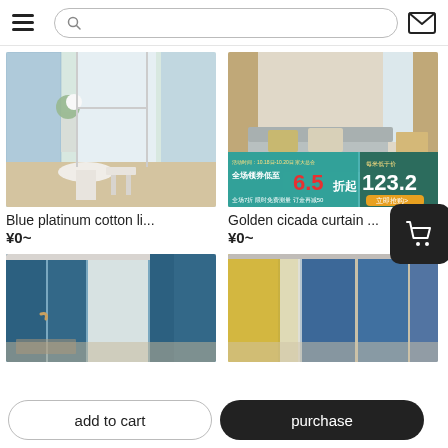Navigation bar with hamburger menu, search bar, and mail icon
[Figure (photo): Blue platinum cotton linen curtain in white room with furniture]
Blue platinum cotton li...
¥0~
[Figure (photo): Golden cicada curtain in living room with promotional banner showing 6.5折起, 123.2]
Golden cicada curtain ...
¥0~
[Figure (photo): Blue curtains (bottom left product)]
[Figure (photo): Blue and yellow curtains (bottom right product)]
add to cart
purchase